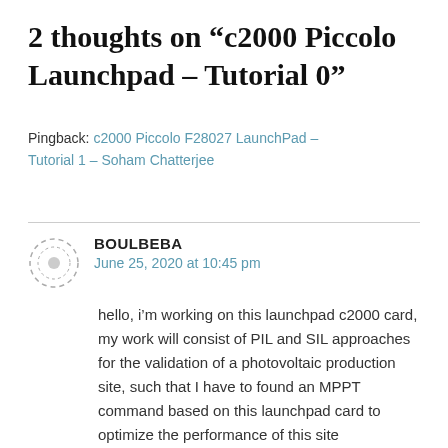2 thoughts on “c2000 Piccolo Launchpad – Tutorial 0”
Pingback: c2000 Piccolo F28027 LaunchPad – Tutorial 1 – Soham Chatterjee
BOULBEBA
June 25, 2020 at 10:45 pm

hello, i’m working on this launchpad c2000 card, my work will consist of PIL and SIL approaches for the validation of a photovoltaic production site, such that I have to found an MPPT command based on this launchpad card to optimize the performance of this site photovoltaic. My request is to take more advantage of this card and to know how